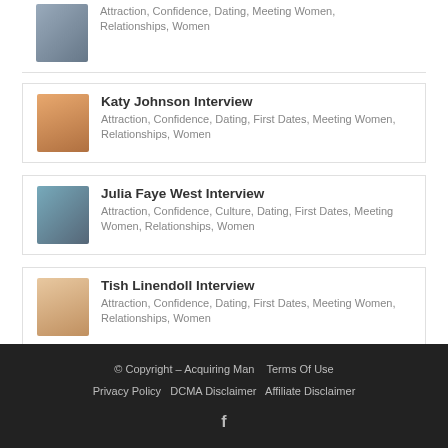Attraction, Confidence, Dating, Meeting Women, Relationships, Women
Katy Johnson Interview
Attraction, Confidence, Dating, First Dates, Meeting Women, Relationships, Women
Julia Faye West Interview
Attraction, Confidence, Culture, Dating, First Dates, Meeting Women, Relationships, Women
Tish Linendoll Interview
Attraction, Confidence, Dating, First Dates, Meeting Women, Relationships, Women
© Copyright – Acquiring Man   Terms Of Use
Privacy Policy   DCMA Disclaimer   Affiliate Disclaimer